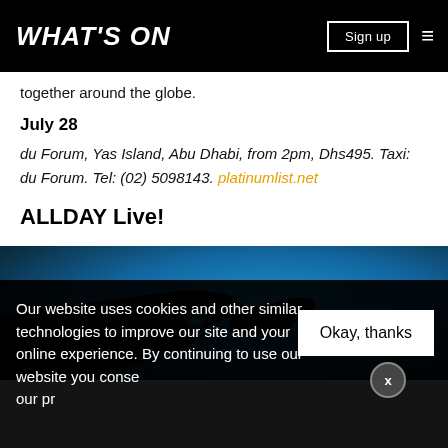WHAT'S ON
together around the globe.
July 28
du Forum, Yas Island, Abu Dhabi, from 2pm, Dhs495. Taxi: du Forum. Tel: (02) 5098143. platinumlist.net
ALLDAY Live!
[Figure (photo): Silhouette of hands/arms reaching against a blue background, concert or performance scene]
Our website uses cookies and other similar technologies to improve our site and your online experience. By continuing to use our website you consent to our use of cookies and our privacy policy.